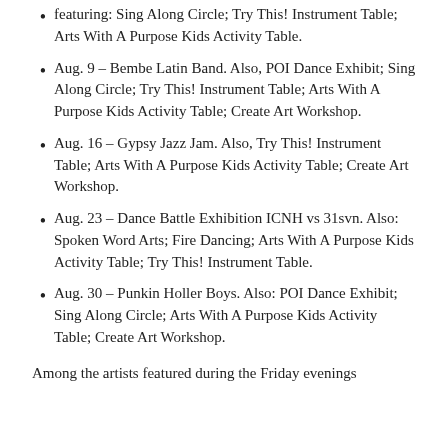featuring: Sing Along Circle; Try This! Instrument Table; Arts With A Purpose Kids Activity Table.
Aug. 9 – Bembe Latin Band. Also, POI Dance Exhibit; Sing Along Circle; Try This! Instrument Table; Arts With A Purpose Kids Activity Table; Create Art Workshop.
Aug. 16 – Gypsy Jazz Jam. Also, Try This! Instrument Table; Arts With A Purpose Kids Activity Table; Create Art Workshop.
Aug. 23 – Dance Battle Exhibition ICNH vs 31svn. Also: Spoken Word Arts; Fire Dancing; Arts With A Purpose Kids Activity Table; Try This! Instrument Table.
Aug. 30 – Punkin Holler Boys. Also: POI Dance Exhibit; Sing Along Circle; Arts With A Purpose Kids Activity Table; Create Art Workshop.
Among the artists featured during the Friday evenings